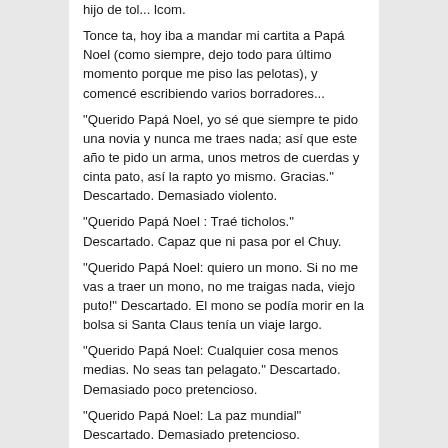hijo de tol... lcom.
Tonce ta, hoy iba a mandar mi cartita a Papá Noel (como siempre, dejo todo para último momento porque me piso las pelotas), y comencé escribiendo varios borradores...
"Querido Papá Noel, yo sé que siempre te pido una novia y nunca me traes nada; así que este año te pido un arma, unos metros de cuerdas y cinta pato, así la rapto yo mismo. Gracias." Descartado. Demasiado violento.
"Querido Papá Noel : Traé ticholos." Descartado. Capaz que ni pasa por el Chuy.
"Querido Papá Noel: quiero un mono. Si no me vas a traer un mono, no me traigas nada, viejo puto!" Descartado. El mono se podía morir en la bolsa si Santa Claus tenía un viaje largo.
"Querido Papá Noel: Cualquier cosa menos medias. No seas tan pelagato." Descartado. Demasiado poco pretencioso.
"Querido Papá Noel: La paz mundial" Descartado. Demasiado pretencioso.